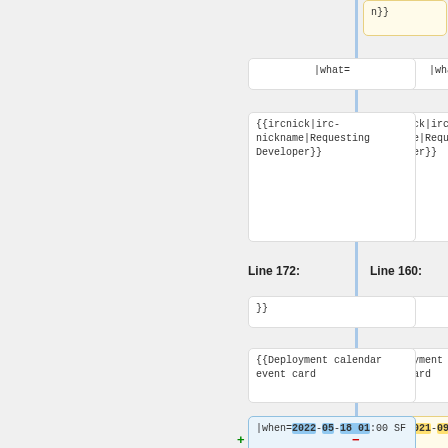n}}
|what=
|what=
{{ircnick|irc-nickname|Requesting Developer}}
{{ircnick|irc-nickname|Requesting Developer}}
Line 160:
Line 172:
}}
}}
{{Deployment calendar event card
{{Deployment calendar event card
|when=2021-09-22 06:00 SF
|when=2022-05-18 01:00 SF